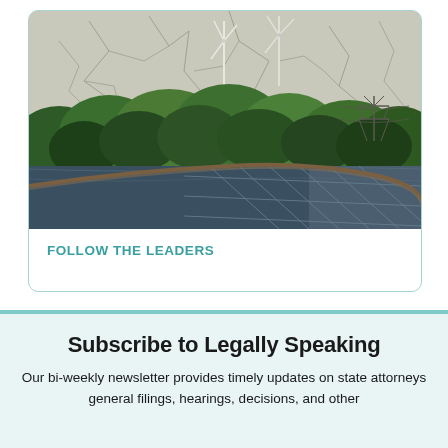[Figure (photo): Aerial view of wind turbines and electricity transmission tower surrounded by dense green trees and vegetation, with cracked earth and reflective water/solar panels visible. A curved road or path runs through the landscape.]
FOLLOW THE LEADERS
Subscribe to Legally Speaking
Our bi-weekly newsletter provides timely updates on state attorneys general filings, hearings, decisions, and other